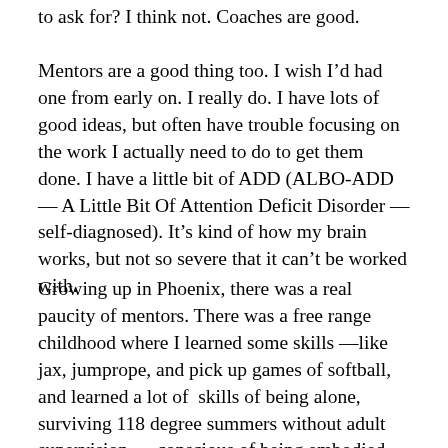to ask for? I think not.  Coaches are good.
Mentors are a good thing too.  I wish I’d had one from early on.  I really do.  I have lots of good ideas, but often have trouble focusing on the work I actually need to do to get them done.  I have a little bit of ADD (ALBO-ADD — A Little Bit Of Attention Deficit Disorder — self-diagnosed). It’s kind of how my brain works, but not so severe that it can’t be worked with.
Growing up in Phoenix, there was a real paucity of mentors.  There was a free range childhood where I learned some skills —like jax, jumprope, and pick up games of softball, and learned a lot of  skills of being alone, surviving 118 degree summers without adult supervision — conscious of being embodied, aware, and wondering, in immediate relationship with earth, water, and